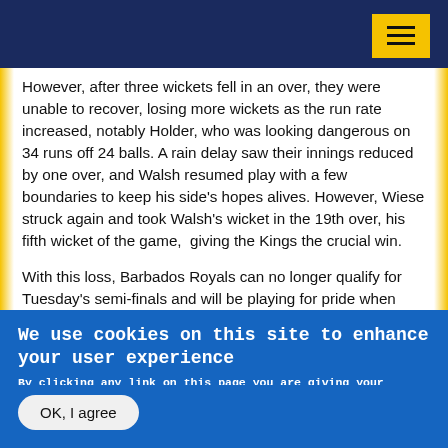However, after three wickets fell in an over, they were unable to recover, losing more wickets as the run rate increased, notably Holder, who was looking dangerous on 34 runs off 24 balls. A rain delay saw their innings reduced by one over, and Walsh resumed play with a few boundaries to keep his side's hopes alives. However, Wiese struck again and took Walsh's wicket in the 19th over, his fifth wicket of the game,  giving the Kings the crucial win.
With this loss, Barbados Royals can no longer qualify for Tuesday's semi-finals and will be playing for pride when they face the Saint Lucia Kings once again in their final
We use cookies on this site to enhance your user experience
By clicking any link on this page you are giving your consent for us to set cookies. No, give me more info
OK, I agree